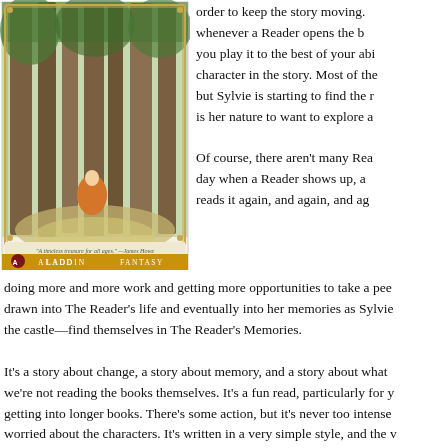[Figure (illustration): Book cover for an Aladdin Fantasy title showing a girl in a forest with tall trees, wearing an orange dress. At the bottom: quote 'A timeless treasure for all ages.' —James Howe. Aladdin Fantasy logo bar at bottom.]
order to keep the story moving. whenever a Reader opens the b you play it to the best of your abi character in the story. Most of the but Sylvie is starting to find the r is her nature to want to explore a
Of course, there aren't many Rea day when a Reader shows up, a reads it again, and again, and ag doing more and more work and getting more opportunities to take a pee drawn into The Reader's life and eventually into her memories as Sylvie the castle—find themselves in The Reader's Memories.
It's a story about change, a story about memory, and a story about what we're not reading the books themselves. It's a fun read, particularly for y getting into longer books. There's some action, but it's never too intense worried about the characters. It's written in a very simple style, and the v with fairly wide margins—so if you've got a not-so-confident reader, they which might help build some of that confidence up. It's a fine quick read might get put off by the layout and font size in the book.